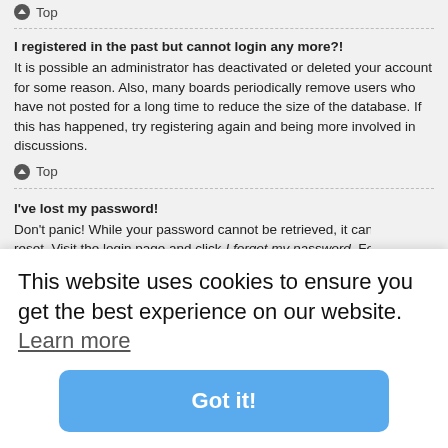Top
I registered in the past but cannot login any more?!
It is possible an administrator has deactivated or deleted your account for some reason. Also, many boards periodically remove users who have not posted for a long time to reduce the size of the database. If this has happened, try registering again and being more involved in discussions.
Top
I've lost my password!
Don't panic! While your password cannot be retrieved, it can easily be reset. Visit the login page and click I forgot my password. Follow the instructions and you should be able to log in again shortly.
However, if you are not able to reset your password, contact a board administrator.
This website uses cookies to ensure you get the best experience on our website. Learn more
Got it!
will only
count by
login.
outer,
e this
checkbox, it means a board administrator has disabled this feature.